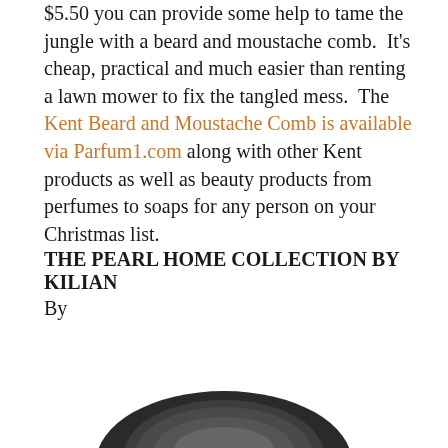... $5.50 you can provide some help to tame the jungle with a beard and moustache comb. It's cheap, practical and much easier than renting a lawn mower to fix the tangled mess. The Kent Beard and Moustache Comb is available via Parfum1.com along with other Kent products as well as beauty products from perfumes to soaps for any person on your Christmas list.
THE PEARL HOME COLLECTION BY KILIAN
By
[Figure (photo): Partial view of a dark-colored oval/round object (likely a product dish or bowl) shown at the bottom of the page, cropped.]